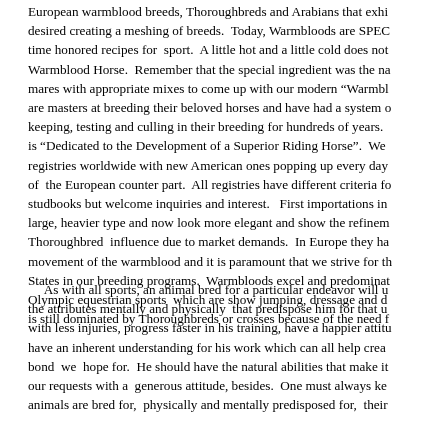European warmblood breeds, Thoroughbreds and Arabians that exhi desired creating a meshing of breeds.  Today, Warmbloods are SPEC time honored recipes for  sport.  A little hot and a little cold does not Warmblood Horse.  Remember that the special ingredient was the na mares with appropriate mixes to come up with our modern “Warmbl are masters at breeding their beloved horses and have had a system o keeping, testing and culling in their breeding for hundreds of years. is “Dedicated to the Development of a Superior Riding Horse”.  We registries worldwide with new American ones popping up every day of  the European counter part.  All registries have different criteria fo studbooks but welcome inquiries and interest.   First importations in large, heavier type and now look more elegant and show the refinem Thoroughbred  influence due to market demands.  In Europe they ha movement of the warmblood and it is paramount that we strive for th States in our breeding programs.  Warmbloods excel and predominat Olympic equestrian sports  which are show jumping, dressage and d is still dominated by Thoroughbreds or crosses because of the need f
As with all sports, an animal bred for a particular endeavor will u the attributes mentally and physically  that predispose him for that u with less injuries, progress faster in his training, have a happier attitu have an inherent understanding for his work which can all help crea bond  we  hope for.  He should have the natural abilities that make it our requests with a  generous attitude, besides.  One must always ke animals are bred for,  physically and mentally predisposed for,  their